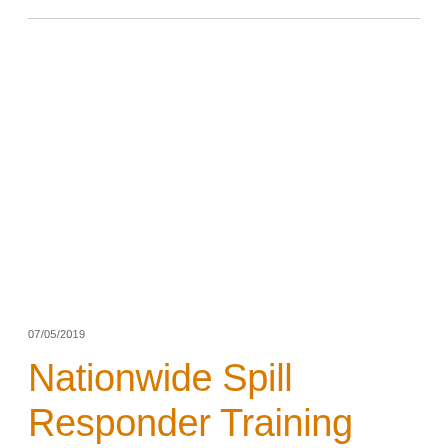07/05/2019
Nationwide Spill Responder Training